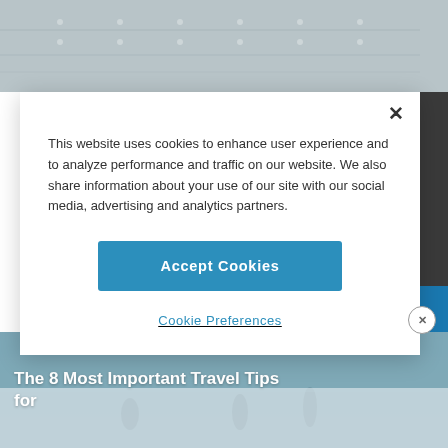[Figure (screenshot): Top background image showing ceiling/architectural structure in grey tones]
This website uses cookies to enhance user experience and to analyze performance and traffic on our website. We also share information about your use of our site with our social media, advertising and analytics partners.
[Figure (other): Accept Cookies button - blue rectangular button]
Cookie Preferences
ADVERTISEMENT
The 8 Most Important Travel Tips for